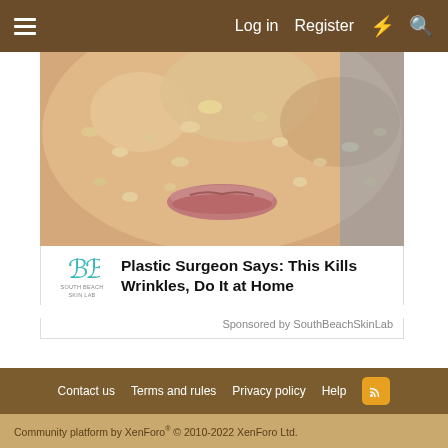≡   Log in   Register   ⚡   🔍
[Figure (photo): Close-up of a person's lower face covered in an oatmeal/grain face mask scrub]
Plastic Surgeon Says: This Kills Wrinkles, Do It at Home
Sponsored by SouthBeachSkinLab
Contact us   Terms and rules   Privacy policy   Help   [RSS]
Community platform by XenForo® © 2010-2022 XenForo Ltd.